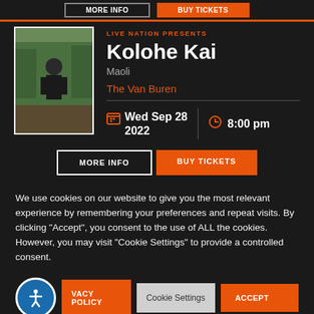LIVE NATION PRESENTS
Kolohe Kai
Maoli
The Van Buren
Wed Sep 28 2022
8:00 pm
MORE INFO
BUY TICKETS
We use cookies on our website to give you the most relevant experience by remembering your preferences and repeat visits. By clicking “Accept”, you consent to the use of ALL the cookies. However, you may visit “Cookie Settings” to provide a controlled consent.
VACY POLICY
Cookie Settings
ACCEPT